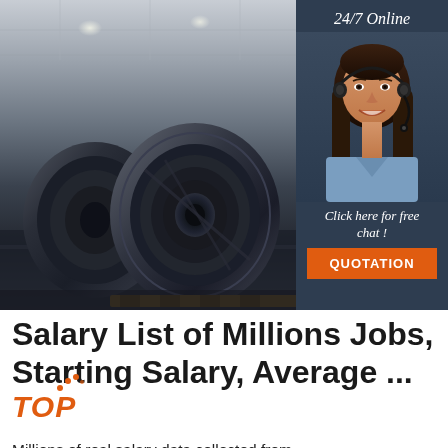[Figure (photo): Industrial warehouse with large steel coil rolls stacked on the floor, with overhead lighting and steel structure visible]
[Figure (photo): Advertisement panel with dark navy background showing '24/7 Online' text, photo of smiling woman with headset, 'Click here for free chat!' text, and orange QUOTATION button]
Salary List of Millions Jobs, Starting Salary, Average ...TOP
Millions of real salary data collected from government and companies - annual starting